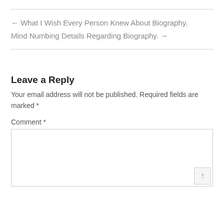← What I Wish Every Person Knew About Biography.
Mind Numbing Details Regarding Biography. →
Leave a Reply
Your email address will not be published. Required fields are marked *
Comment *